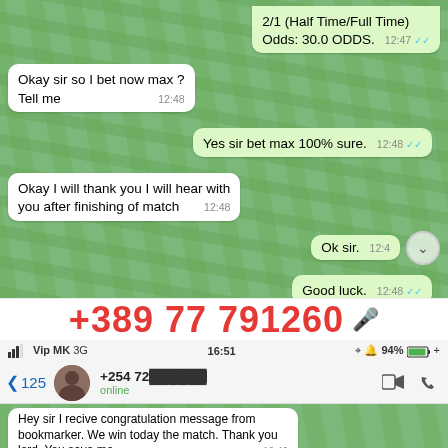[Figure (screenshot): WhatsApp chat screenshot showing conversation about sports betting. Top partial bubble shows '2/1 (Half Time/Full Time) Odds: 30.0 ODDS.' at 12:47. Left bubble: 'Okay sir so I bet now max ? Tell me' at 12:48. Right bubble: 'Yes sir bet max 100% sure.' at 12:48. Left bubble: 'Okay I will thank you I will hear with you after finishing of match' at 12:48. Right bubble: 'Ok sir.' with 12:4x time. Right bubble: 'Good luck.' at 12:48. Below chat: large red phone number '+389 77 791260' with blue microphone icon. Status bar: 'Vip MK 3G 16:51 94%'. WhatsApp header: back arrow, 125, avatar photo, '+254 72x...' online, video and call icons. Bottom chat bubble: 'Hey sir I recive congratulation message from bookmaker. We win today the match. Thank you lord. You save me.' at 16:49. Partial bottom right bubble: 'Yes sir. Today HT FT fixed match']